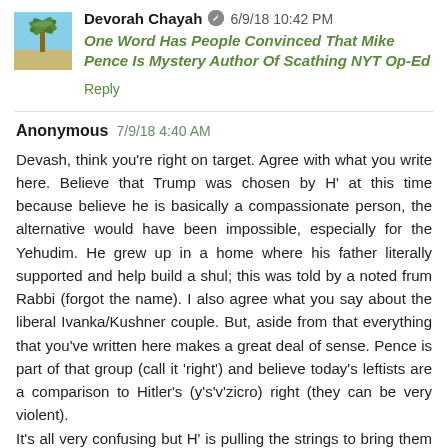Devorah Chayah 6/9/18 10:42 PM
One Word Has People Convinced That Mike Pence Is Mystery Author Of Scathing NYT Op-Ed
Reply
Anonymous 7/9/18 4:40 AM
Devash, think you're right on target. Agree with what you write here. Believe that Trump was chosen by H' at this time because believe he is basically a compassionate person, the alternative would have been impossible, especially for the Yehudim. He grew up in a home where his father literally supported and help build a shul; this was told by a noted frum Rabbi (forgot the name). I also agree what you say about the liberal Ivanka/Kushner couple. But, aside from that everything that you've written here makes a great deal of sense. Pence is part of that group (call it 'right') and believe today's leftists are a comparison to Hitler's (y's'v'zicro) right (they can be very violent).
It's all very confusing but H' is pulling the strings to bring them down. These are frightening but awesome times. May